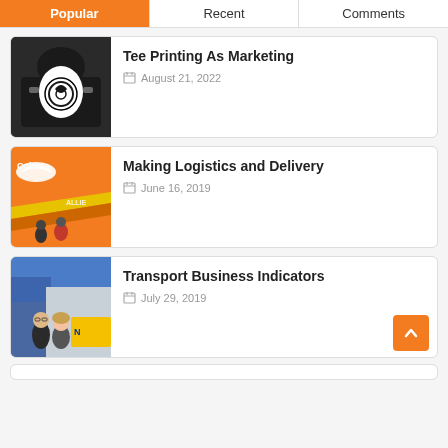Popular | Recent | Comments
Tee Printing As Marketing — August 21, 2022
Making Logistics and Delivery — June 16, 2019
Transport Business Indicators — July 29, 2019